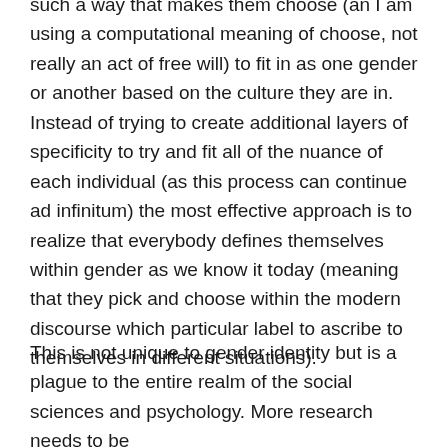such a way that makes them choose (an I am using a computational meaning of choose, not really an act of free will) to fit in as one gender or another based on the culture they are in. Instead of trying to create additional layers of specificity to try and fit all of the nuance of each individual (as this process can continue ad infinitum) the most effective approach is to realize that everybody defines themselves within gender as we know it today (meaning that they pick and choose within the modern discourse which particular label to ascribe to themselves in different situations).
This is not unique to gender identity but is a plague to the entire realm of the social sciences and psychology. More research needs to be